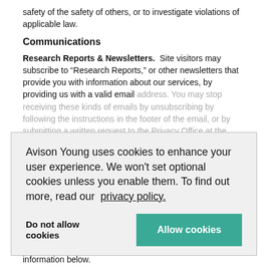safety of the safety of others, or to investigate violations of applicable law.
Communications
Research Reports & Newsletters. Site visitors may subscribe to “Research Reports,” or other newsletters that provide you with information about our services, by providing us with a valid email address. You may stop receiving these kinds of emails by unsubscribing by following the instructions in the footer of the email, or by submitting a written request to the Privacy Office at the contact information below.
Sales & Customer Service. We communicate with customers and interested individuals via email, regular mail, and telephone to provide requested services. You may ask to be removed from our mailing or calling list at any time by submitting a written request to the Privacy Office at the contact information below.
Avison Young uses cookies to enhance your user experience. We won’t set optional cookies unless you enable them. To find out more, read our privacy policy.
Do not allow cookies
Allow cookies
information below.